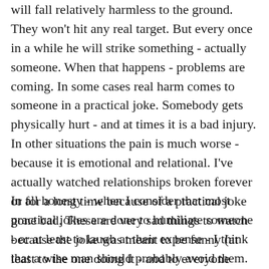will fall relatively harmless to the ground. They won't hit any real target. But every once in a while he will strike something - actually someone. When that happens - problems are coming. In some cases real harm comes to someone in a practical joke. Somebody gets physically hurt - and at times it is a bad injury. In other situations the pain is much worse - because it is emotional and relational. I've actually watched relationships broken forever or for a long time because of a practical joke gone bad. These are very sad things to watch because the joke was meant to be funny (at least to the one doing it - and to everyone watching the person humiliated). But at times the humiliation breeds anger. That is why God warns us about it.
In all honesty - when I consider that most practical jokes are done to humiliate someone - or at least to laugh at their expense - I think that a wise man should probably avoid them. He knows that such an action may result in